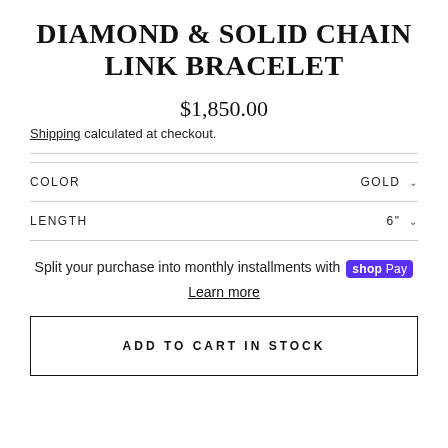DIAMOND & SOLID CHAIN LINK BRACELET
$1,850.00
Shipping calculated at checkout.
COLOR   GOLD
LENGTH   6"
Split your purchase into monthly installments with shop Pay
Learn more
ADD TO CART IN STOCK